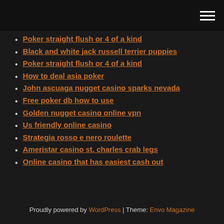[hamburger menu icon]
Poker straight flush or 4 of a kind
Black and white jack russell terrier puppies
Poker straight flush or 4 of a kind
How to deal asia poker
John ascuaga nugget casino sparks nevada
Free poker db how to use
Golden nugget casino online vpn
Us friendly online casino
Strategia rosso e nero roulette
Ameristar casino st. charles crab legs
Online casino that has easiest cash out
Proudly powered by WordPress | Theme: Envo Magazine